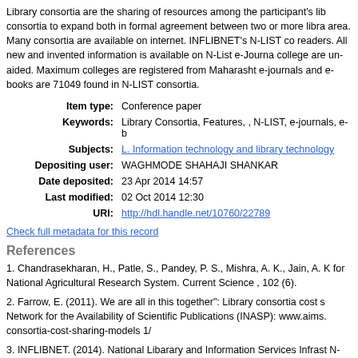Library consortia are the sharing of resources among the participant's lib... consortia to expand both in formal agreement between two or more libra... area. Many consortia are available on internet. INFLIBNET's N-LIST co... readers. All new and invented information is available on N-List e-Journa... college are un-aided. Maximum colleges are registered from Maharasht... e-journals and e-books are 71049 found in N-LIST consortia.
| Field | Value |
| --- | --- |
| Item type: | Conference paper |
| Keywords: | Library Consortia, Features, , N-LIST, e-journals, e-b |
| Subjects: | L. Information technology and library technology |
| Depositing user: | WAGHMODE SHAHAJI SHANKAR |
| Date deposited: | 23 Apr 2014 14:57 |
| Last modified: | 02 Oct 2014 12:30 |
| URI: | http://hdl.handle.net/10760/22789 |
Check full metadata for this record
References
1. Chandrasekharan, H., Patle, S., Pandey, P. S., Mishra, A. K., Jain, A. K... for National Agricultural Research System. Current Science , 102 (6).
2. Farrow, E. (2011). We are all in this together": Library consortia cost s... Network for the Availability of Scientific Publications (INASP): www.aims... consortia-cost-sharing-models 1/
3. INFLIBNET. (2014). National Libarary and Information Services Infrast... N-LIST: http://nlist.inflibnet.ac.in/index.php